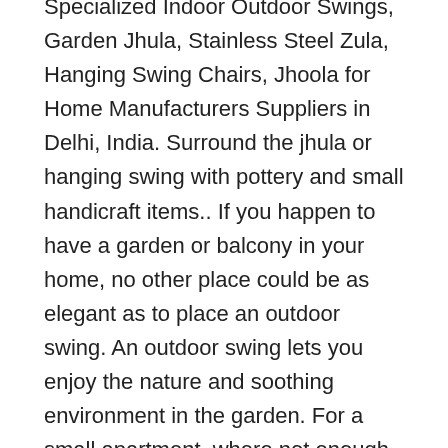Specialized Indoor Outdoor Swings, Garden Jhula, Stainless Steel Zula, Hanging Swing Chairs, Jhoola for Home Manufacturers Suppliers in Delhi, India. Surround the jhula or hanging swing with pottery and small handicraft items.. If you happen to have a garden or balcony in your home, no other place could be as elegant as to place an outdoor swing. An outdoor swing lets you enjoy the nature and soothing environment in the garden. For a small apartment, where not enough space is available to. Garden Jhula Garden Furniture, Steel Furniture Manufacturer Garden Jhula small Comination of white and light colours 18 X 18 size Garden Jhula small Comination of white and light colours 18 X 18 size Garden Jhula Outdoor Swings Design From Jaipur India, F-743,. Thus, a garden swing chair or jhoola is a great addition to